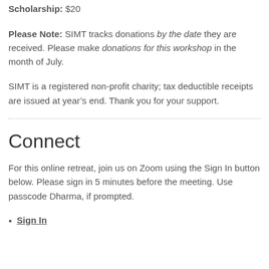Scholarship: $20
Please Note: SIMT tracks donations by the date they are received. Please make donations for this workshop in the month of July.
SIMT is a registered non-profit charity; tax deductible receipts are issued at year’s end. Thank you for your support.
Connect
For this online retreat, join us on Zoom using the Sign In button below. Please sign in 5 minutes before the meeting. Use passcode Dharma, if prompted.
Sign In